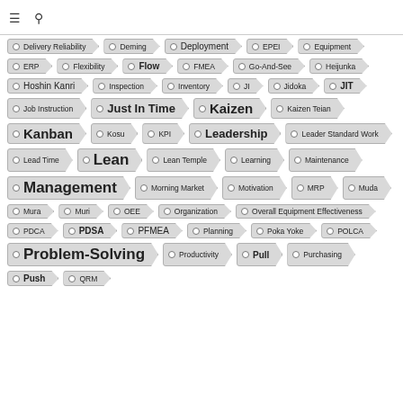≡  🔍
Delivery Reliability
Deming
Deployment
EPEI
Equipment
ERP
Flexibility
Flow
FMEA
Go-And-See
Heijunka
Hoshin Kanri
Inspection
Inventory
JI
Jidoka
JIT
Job Instruction
Just In Time
Kaizen
Kaizen Teian
Kanban
Kosu
KPI
Leadership
Leader Standard Work
Lead Time
Lean
Lean Temple
Learning
Maintenance
Management
Morning Market
Motivation
MRP
Muda
Mura
Muri
OEE
Organization
Overall Equipment Effectiveness
PDCA
PDSA
PFMEA
Planning
Poka Yoke
POLCA
Problem-Solving
Productivity
Pull
Purchasing
Push
QRM